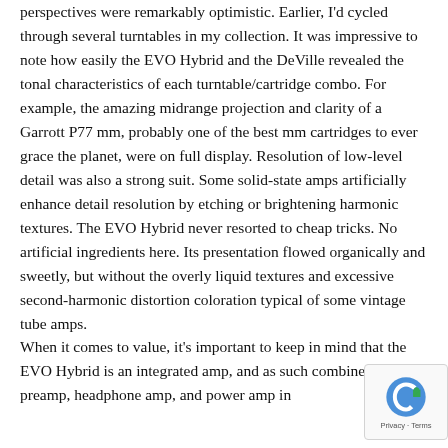perspectives were remarkably optimistic. Earlier, I'd cycled through several turntables in my collection. It was impressive to note how easily the EVO Hybrid and the DeVille revealed the tonal characteristics of each turntable/cartridge combo. For example, the amazing midrange projection and clarity of a Garrott P77 mm, probably one of the best mm cartridges to ever grace the planet, were on full display. Resolution of low-level detail was also a strong suit. Some solid-state amps artificially enhance detail resolution by etching or brightening harmonic textures. The EVO Hybrid never resorted to cheap tricks. No artificial ingredients here. Its presentation flowed organically and sweetly, but without the overly liquid textures and excessive second-harmonic distortion coloration typical of some vintage tube amps.
When it comes to value, it's important to keep in mind that the EVO Hybrid is an integrated amp, and as such combines a preamp, headphone amp, and power amp in